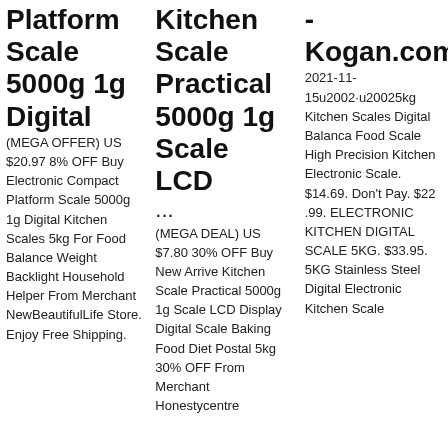Platform Scale 5000g 1g Digital
(MEGA OFFER) US $20.97 8% OFF Buy Electronic Compact Platform Scale 5000g 1g Digital Kitchen Scales 5kg For Food Balance Weight Backlight Household Helper From Merchant NewBeautifulLife Store. Enjoy Free Shipping.
Kitchen Scale Practical 5000g 1g Scale LCD ...
(MEGA DEAL) US $7.80 30% OFF Buy New Arrive Kitchen Scale Practical 5000g 1g Scale LCD Display Digital Scale Baking Food Diet Postal 5kg 30% OFF From Merchant Honestycentre
- Kogan.com
2021-11-15u2002·u20025kg Kitchen Scales Digital Balanca Food Scale High Precision Kitchen Electronic Scale. $14.69. Don't Pay. $22 .99. ELECTRONIC KITCHEN DIGITAL SCALE 5KG. $33.95. 5KG Stainless Steel Digital Electronic Kitchen Scale